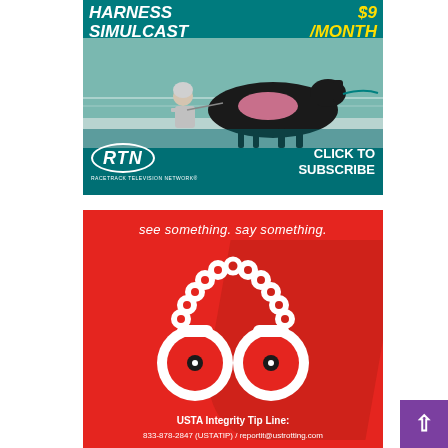[Figure (advertisement): RTN Racetrack Television Network advertisement. Teal/green background with harness racing horse and driver. Text reads 'HARNESS SIMULCAST /MONTH' with 'CLICK TO SUBSCRIBE'. RTN logo with oval border at bottom left. Tagline: RACETRACK TELEVISION NETWORK.]
[Figure (advertisement): USTA Integrity Tip Line advertisement on red/orange background. Text: 'see something. say something.' with handcuff icon graphic. Bottom text: 'USTA Integrity Tip Line:' and '833-878-2847 (USTATIP) / reportit@ustrotting.com']